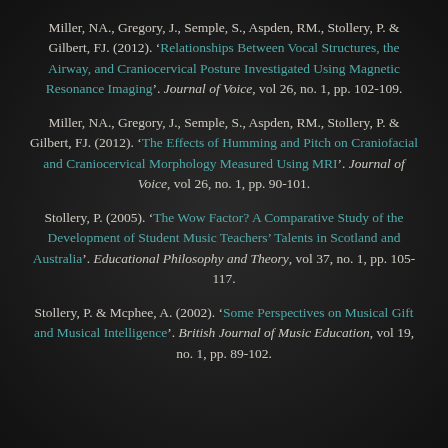Miller, NA., Gregory, J., Semple, S., Aspden, RM., Stollery, P. & Gilbert, FJ. (2012). 'Relationships Between Vocal Structures, the Airway, and Craniocervical Posture Investigated Using Magnetic Resonance Imaging'. Journal of Voice, vol 26, no. 1, pp. 102-109.
Miller, NA., Gregory, J., Semple, S., Aspden, RM., Stollery, P. & Gilbert, FJ. (2012). 'The Effects of Humming and Pitch on Craniofacial and Craniocervical Morphology Measured Using MRI'. Journal of Voice, vol 26, no. 1, pp. 90-101.
Stollery, P. (2005). 'The Wow Factor? A Comparative Study of the Development of Student Music Teachers' Talents in Scotland and Australia'. Educational Philosophy and Theory, vol 37, no. 1, pp. 105-117.
Stollery, P. & Mcphee, A. (2002). 'Some Perspectives on Musical Gift and Musical Intelligence'. British Journal of Music Education, vol 19, no. 1, pp. 89-102.